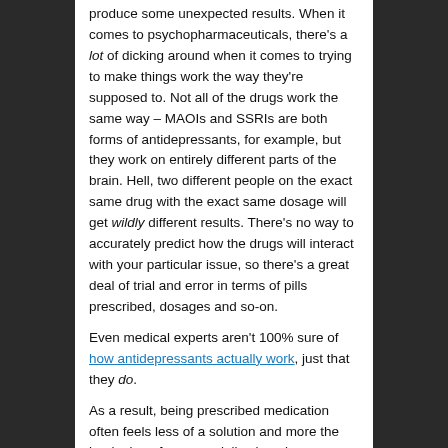produce some unexpected results. When it comes to psychopharmaceuticals, there's a lot of dicking around when it comes to trying to make things work the way they're supposed to. Not all of the drugs work the same way – MAOIs and SSRIs are both forms of antidepressants, for example, but they work on entirely different parts of the brain. Hell, two different people on the exact same drug with the exact same dosage will get wildly different results. There's no way to accurately predict how the drugs will interact with your particular issue, so there's a great deal of trial and error in terms of pills prescribed, dosages and so-on.
Even medical experts aren't 100% sure of how antidepressants actually work, just that they do.
As a result, being prescribed medication often feels less of a solution and more the beginning of an especially obnoxious science experiment by a mad scientist using your brain as a guinea pig.